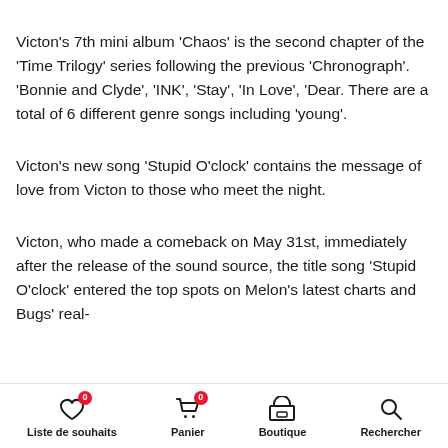Victon's 7th mini album 'Chaos' is the second chapter of the 'Time Trilogy' series following the previous 'Chronograph'. 'Bonnie and Clyde', 'INK', 'Stay', 'In Love', 'Dear. There are a total of 6 different genre songs including 'young'.
Victon's new song 'Stupid O'clock' contains the message of love from Victon to those who meet the night.
Victon, who made a comeback on May 31st, immediately after the release of the sound source, the title song 'Stupid O'clock' entered the top spots on Melon's latest charts and Bugs' real-
Liste de souhaits  Panier  Boutique  Rechercher